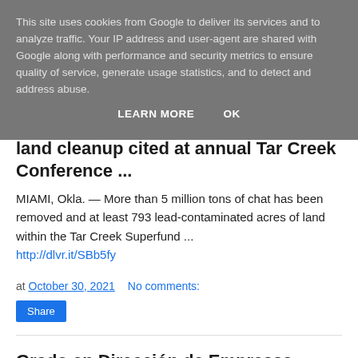This site uses cookies from Google to deliver its services and to analyze traffic. Your IP address and user-agent are shared with Google along with performance and security metrics to ensure quality of service, generate usage statistics, and to detect and address abuse.
LEARN MORE   OK
land cleanup cited at annual Tar Creek Conference ...
MIAMI, Okla. — More than 5 million tons of chat has been removed and at least 793 lead-contaminated acres of land within the Tar Creek Superfund ...
http://dlvr.it/SBb5fy
at October 30, 2021   No comments:
Share
Grado en Dirección de Empresas - BBA -